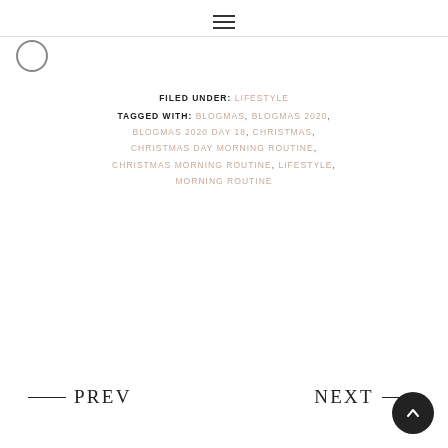≡ (hamburger menu icon)
FILED UNDER: LIFESTYLE
TAGGED WITH: BLOGMAS, BLOGMAS 2020, BLOGMAS 2020 DAY 18, CHRISTMAS, CHRISTMAS DAY MORNING ROUTINE, CHRISTMAS MORNING ROUTINE, LIFESTYLE, MORNING ROUTINE
← PREV    NEXT →